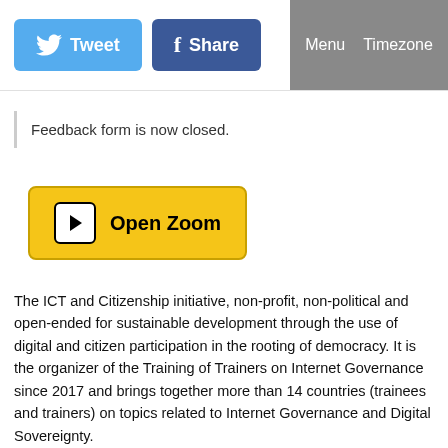[Figure (screenshot): Tweet and Share social media buttons in the page header, alongside Menu and Timezone navigation links on a grey background]
Feedback form is now closed.
[Figure (screenshot): Yellow Open Zoom button with a play icon]
The ICT and Citizenship initiative, non-profit, non-political and open-ended for sustainable development through the use of digital and citizen participation in the rooting of democracy. It is the organizer of the Training of Trainers on Internet Governance since 2017 and brings together more than 14 countries (trainees and trainers) on topics related to Internet Governance and Digital Sovereignty.
AFIGF is a platform for inclusive, multi-stakeholder and multilingual discussion on issues related to the